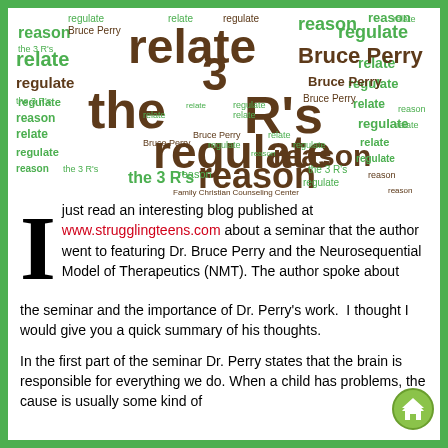[Figure (infographic): Word cloud in the shape of a brain containing words: relate, regulate, reason, the 3 R's, Bruce Perry, Family Christian Counseling Center — in brown, green, and dark colors at various sizes]
I just read an interesting blog published at www.strugglingteens.com about a seminar that the author went to featuring Dr. Bruce Perry and the Neurosequential Model of Therapeutics (NMT). The author spoke about the seminar and the importance of Dr. Perry's work.  I thought I would give you a quick summary of his thoughts.
In the first part of the seminar Dr. Perry states that the brain is responsible for everything we do. When a child has problems, the cause is usually some kind of